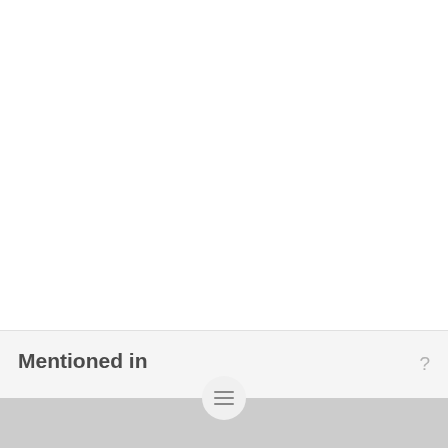Mentioned in
collection management authority...